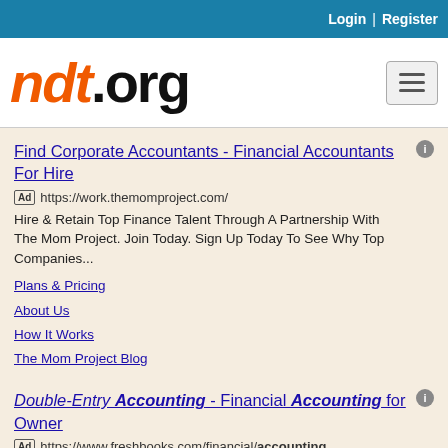Login | Register
[Figure (logo): ndt.org logo with orange italic 'ndt' and black '.org' text with orange dot in the 'o']
Find Corporate Accountants - Financial Accountants For Hire
[Ad] https://work.themomproject.com/
Hire & Retain Top Finance Talent Through A Partnership With The Mom Project. Join Today. Sign Up Today To See Why Top Companies...
Plans & Pricing
About Us
How It Works
The Mom Project Blog
Double-Entry Accounting - Financial Accounting for Owner
[Ad] https://www.freshbooks.com/financial/accounting
Accounting Isn't Easy, But It Can Be With The Right Software. Try FreshBooks For Free Now. Looking For The Best Program For Your...